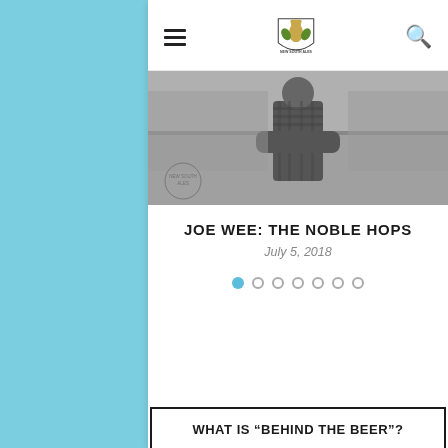[Figure (screenshot): Mobile website screenshot of New South Ales brewery blog. Contains navigation bar with hamburger menu, brewery logo, and search icon, followed by a black-and-white hero photo of a person standing in a brewery or similar industrial space with the brewery logo watermark.]
JOE WEE: THE NOBLE HOPS
July 5, 2018
[Figure (infographic): Pagination dots row: 7 dots, first dot filled/active in blue, remaining 6 dots are empty circles.]
WHAT IS “BEHIND THE BEER”?